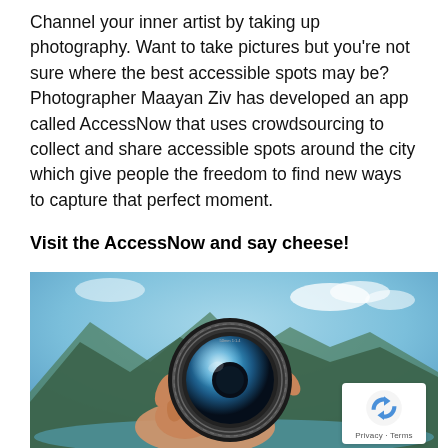Channel your inner artist by taking up photography. Want to take pictures but you're not sure where the best accessible spots may be? Photographer Maayan Ziv has developed an app called AccessNow that uses crowdsourcing to collect and share accessible spots around the city which give people the freedom to find new ways to capture that perfect moment.
Visit the AccessNow and say cheese!
[Figure (photo): A hand holding a camera lens up against a blurred mountain and blue sky background, with a reCAPTCHA badge in the lower right corner.]